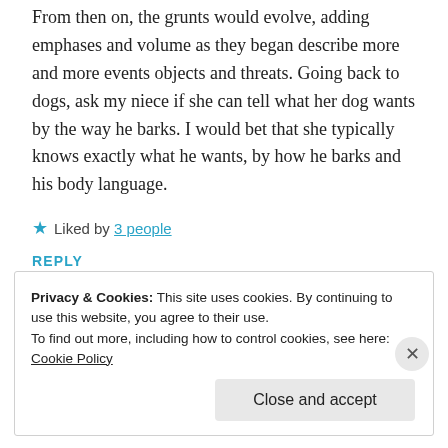From then on, the grunts would evolve, adding emphases and volume as they began describe more and more events objects and threats. Going back to dogs, ask my niece if she can tell what her dog wants by the way he barks. I would bet that she typically knows exactly what he wants, by how he barks and his body language.
★ Liked by 3 people
REPLY
Privacy & Cookies: This site uses cookies. By continuing to use this website, you agree to their use. To find out more, including how to control cookies, see here: Cookie Policy
Close and accept